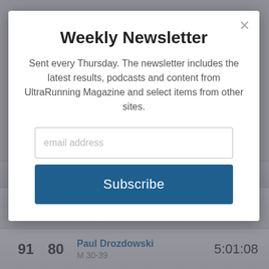[Figure (screenshot): Race results table rows partially visible behind modal overlay, showing runners with ranks 89/90/91, numbers 79/80, names Fearghal Mulvihill and Paul Drozdowski, category M 30-39, times 5:00:31 and 5:01:08]
Weekly Newsletter
Sent every Thursday. The newsletter includes the latest results, podcasts and content from UltraRunning Magazine and select items from other sites.
email address
Subscribe
|  |  | Name / Category | Time |
| --- | --- | --- | --- |
|  |  | M 30-39 |  |
| 90 | 79 | Fearghal Mulvihill
M 30-39 | 5:00:31 |
| 91 | 80 | Paul Drozdowski
M 30-39 | 5:01:08 |